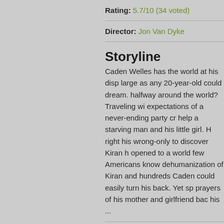Rating: 5.7/10 (34 voted)
Director: Jon Van Dyke
Storyline
Caden Welles has the world at his disp large as any 20-year-old could dream. halfway around the world? Traveling wi expectations of a never-ending party cr help a starving man and his little girl. H right his wrong-only to discover Kiran h opened to a world few Americans know dehumanization of Kiran and hundreds Caden could easily turn his back. Yet sp prayers of his mother and girlfriend bac his ...
Taglines: None of us are free if one of
Details
Official Website: Official site